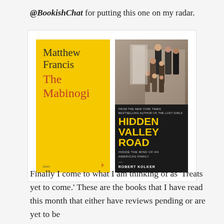@BookishChat for putting this one on my radar.
[Figure (photo): Two book covers side by side: 'The Mabinogi' by Matthew Francis (yellow cover, Faber & Faber) and 'Hidden Valley Road: Inside the Mind of an American Family' by Robert Kolker (dark cover with family photo).]
Finally I come to what I am thinking of as ‘Treats yet to come.’ These are the books that I have read this month that either have reviews pending or are yet to be